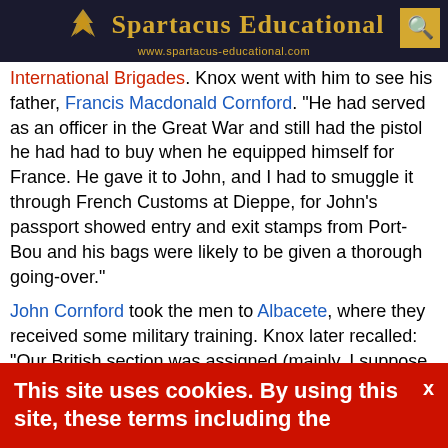Spartacus Educational - www.spartacus-educational.com
International Brigades. Knox went with him to see his father, Francis Macdonald Cornford. "He had served as an officer in the Great War and still had the pistol he had had to buy when he equipped himself for France. He gave it to John, and I had to smuggle it through French Customs at Dieppe, for John's passport showed entry and exit stamps from Port-Bou and his bags were likely to be given a thorough going-over."
John Cornford took the men to Albacete, where they received some military training. Knox later recalled: "Our British section was assigned (mainly, I suppose, because I could serve as interpreter) to the French Battalion, where we ended up in the compagnie mitrailleuse, the machine-gun company. But for the rest of September and all through October we had no machine guns, not even rifles; the only weapon around was John's pistol, which he kept well-oiled. With no practice on proper weapons, our day..."
This site uses cookies. By using this site, these terms including the